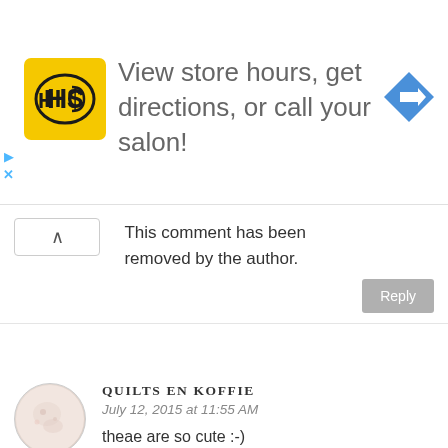[Figure (screenshot): Advertisement banner: HC logo on yellow background, text 'View store hours, get directions, or call your salon!', blue diamond navigation arrow icon]
This comment has been removed by the author.
Reply
QUILTS EN KOFFIE
July 12, 2015 at 11:55 AM
theae are so cute :-)
Reply
NASTJENKA